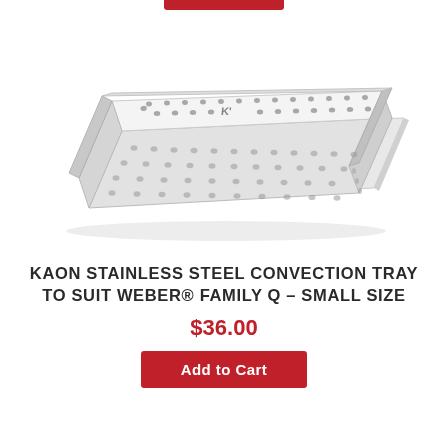[Figure (photo): Stainless steel convection tray product photo, rectangular perforated metal tray with folded edges and small Kaon logo stamped in the center, shown at a slight angle on white background]
KAON STAINLESS STEEL CONVECTION TRAY TO SUIT WEBER® FAMILY Q – SMALL SIZE
$36.00
Add to Cart